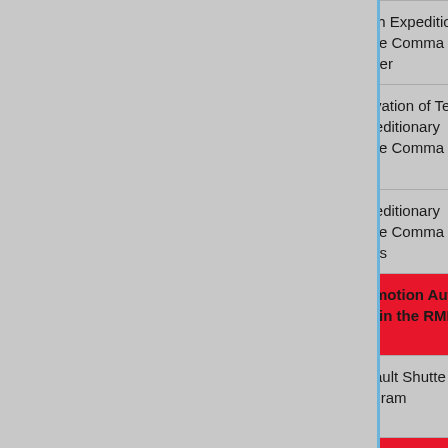| (left panel) | Directive | Date | Subject |
| --- | --- | --- | --- |
|  | Corps Directive 09-1808 | 26 Aug 2018 | Tenth Expeditionary Force Commanding Officer |
|  | Corps Directive 08-1808 | 26 Aug 2018 | Activation of Tenth Expeditionary Force Commanding Staff |
|  | Corps Directive 07-1808 | 26 Aug 2018 | Expeditionary Force Commanding Staffs |
|  | Corps Directive 06-1808 [RED/HIGHLIGHTED] | 26 Aug 2018 | Promotion Authority within the RMM |
|  | Corps Directive 05-1808 | 26 Aug 2018 | Assault Shuttle Program |
|  | Corps Directive 04-1808 [RED/HIGHLIGHTED] | 26 Aug 2018 | RMMC Unit Policies & Procedures |